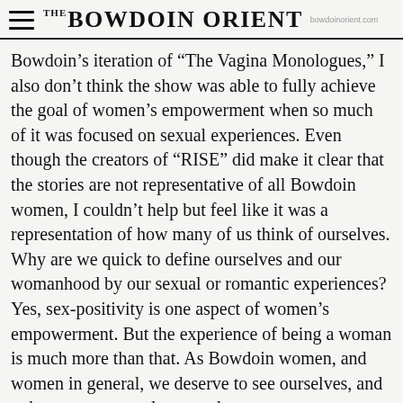THE BOWDOIN ORIENT
Bowdoin’s iteration of “The Vagina Monologues,” I also don’t think the show was able to fully achieve the goal of women’s empowerment when so much of it was focused on sexual experiences. Even though the creators of “RISE” did make it clear that the stories are not representative of all Bowdoin women, I couldn’t help but feel like it was a representation of how many of us think of ourselves. Why are we quick to define ourselves and our womanhood by our sexual or romantic experiences? Yes, sex-positivity is one aspect of women’s empowerment. But the experience of being a woman is much more than that. As Bowdoin women, and women in general, we deserve to see ourselves, and to be seen, as complete people.